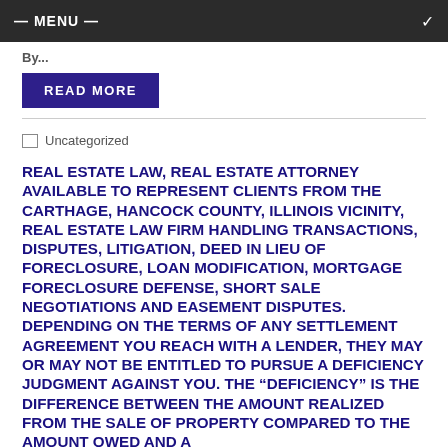— MENU —
By...
READ MORE
Uncategorized
REAL ESTATE LAW, REAL ESTATE ATTORNEY AVAILABLE TO REPRESENT CLIENTS FROM THE CARTHAGE, HANCOCK COUNTY, ILLINOIS VICINITY, REAL ESTATE LAW FIRM HANDLING TRANSACTIONS, DISPUTES, LITIGATION, DEED IN LIEU OF FORECLOSURE, LOAN MODIFICATION, MORTGAGE FORECLOSURE DEFENSE, SHORT SALE NEGOTIATIONS AND EASEMENT DISPUTES. DEPENDING ON THE TERMS OF ANY SETTLEMENT AGREEMENT YOU REACH WITH A LENDER, THEY MAY OR MAY NOT BE ENTITLED TO PURSUE A DEFICIENCY JUDGMENT AGAINST YOU. THE “DEFICIENCY” IS THE DIFFERENCE BETWEEN THE AMOUNT REALIZED FROM THE SALE OF PROPERTY COMPARED TO THE AMOUNT OWED AND A